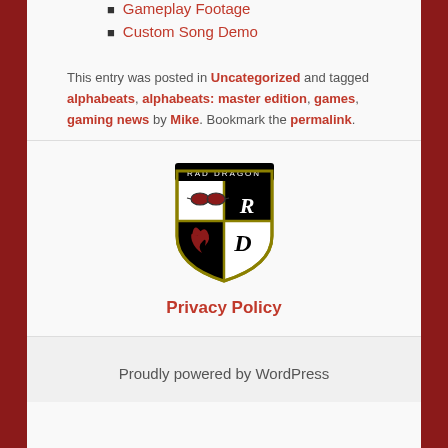Gameplay Footage
Custom Song Demo
This entry was posted in Uncategorized and tagged alphabeats, alphabeats: master edition, games, gaming news by Mike. Bookmark the permalink.
[Figure (logo): Rad Dragon shield logo with crest, sunglasses on white quadrant and dragon on black quadrant, gold border]
Privacy Policy
Proudly powered by WordPress